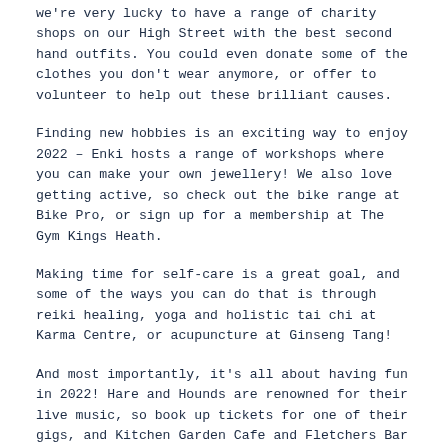we're very lucky to have a range of charity shops on our High Street with the best second hand outfits. You could even donate some of the clothes you don't wear anymore, or offer to volunteer to help out these brilliant causes.
Finding new hobbies is an exciting way to enjoy 2022 – Enki hosts a range of workshops where you can make your own jewellery! We also love getting active, so check out the bike range at Bike Pro, or sign up for a membership at The Gym Kings Heath.
Making time for self-care is a great goal, and some of the ways you can do that is through reiki healing, yoga and holistic tai chi at Karma Centre, or acupuncture at Ginseng Tang!
And most importantly, it's all about having fun in 2022! Hare and Hounds are renowned for their live music, so book up tickets for one of their gigs, and Kitchen Garden Cafe and Fletchers Bar regularly host events as well.
The Juke likes to invite street food vendors, so you can enjoy something